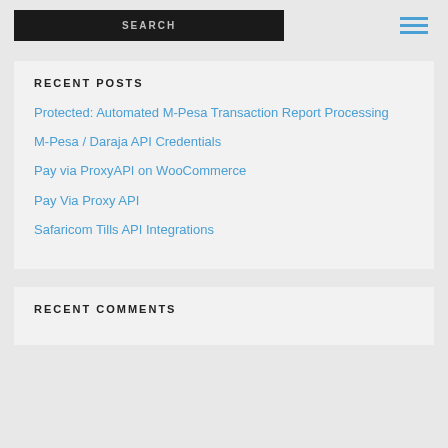SEARCH
RECENT POSTS
Protected: Automated M-Pesa Transaction Report Processing
M-Pesa / Daraja API Credentials
Pay via ProxyAPI on WooCommerce
Pay Via Proxy API
Safaricom Tills API Integrations
RECENT COMMENTS